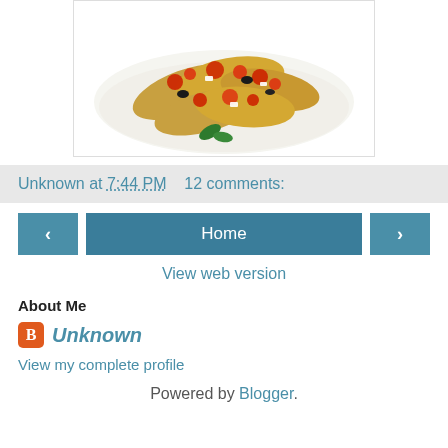[Figure (photo): A plate of bruschetta topped with tomatoes, olives, and feta cheese on a white plate]
Unknown at 7:44 PM    12 comments:
Home
View web version
About Me
Unknown
View my complete profile
Powered by Blogger.